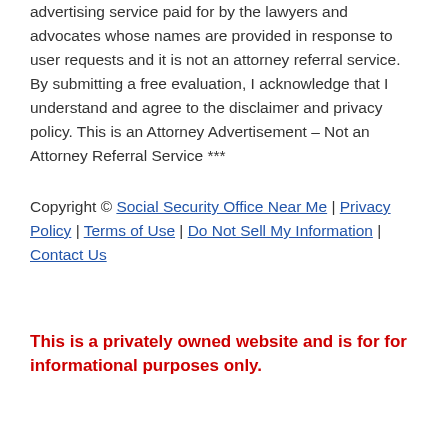advertising service paid for by the lawyers and advocates whose names are provided in response to user requests and it is not an attorney referral service. By submitting a free evaluation, I acknowledge that I understand and agree to the disclaimer and privacy policy. This is an Attorney Advertisement – Not an Attorney Referral Service ***
Copyright © Social Security Office Near Me | Privacy Policy | Terms of Use | Do Not Sell My Information | Contact Us
This is a privately owned website and is for for informational purposes only.
[Figure (other): Advertisement banner for Brightview Senior Living showing two people, with text 'Committed To Your Success', 'Brightview Senior Living', and an 'Open' button]